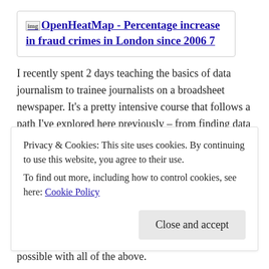[Figure (other): Broken image placeholder with link text: OpenHeatMap - Percentage increase in fraud crimes in London since 2006 7]
I recently spent 2 days teaching the basics of data journalism to trainee journalists on a broadsheet newspaper. It's a pretty intensive course that follows a path I've explored here previously – from finding data and interrogating it to visualizing it and mashing – and I wanted to record the results.
My approach was both practical and conceptual. Conceptually, the trainees need to be able to understand and communicate with people from other disciplines, such as
Privacy & Cookies: This site uses cookies. By continuing to use this website, you agree to their use.
To find out more, including how to control cookies, see here: Cookie Policy
possible with all of the above.